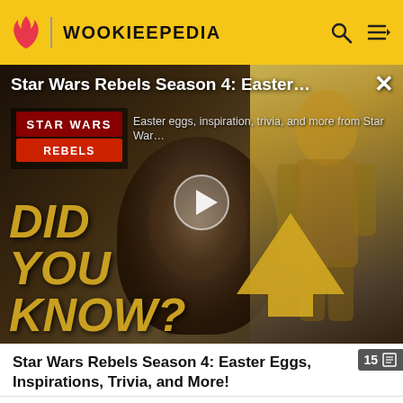WOOKIEEPEDIA
[Figure (screenshot): Star Wars Rebels Season 4 Easter Eggs video thumbnail with 'DID YOU KNOW?' text overlay, play button, Star Wars Rebels logo, yellow arrow graphic, and comic panel on right side. Shows a dark-skinned character face in the center background.]
Star Wars Rebels Season 4: Easter Eggs, Inspirations, Trivia, and More!
1–2 • 3–4 • 5 • 6 • 7 • 8 • 9 • 10 • 11 • 12 • 13 • 14 • 15–16
Episode adaptations